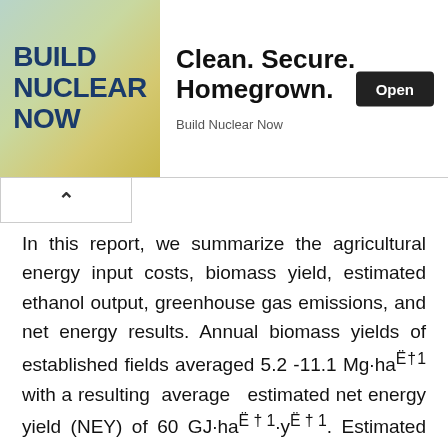[Figure (other): Advertisement banner for 'Build Nuclear Now' campaign with logo on left and 'Clean. Secure. Homegrown.' headline on right with an Open button]
In this report, we summarize the agricultural energy input costs, biomass yield, estimated ethanol output, greenhouse gas emissions, and net energy results. Annual biomass yields of established fields averaged 5.2 -11.1 Mg·ha⁻¹ with a resulting average estimated net energy yield (NEY) of 60 GJ·ha⁻¹·y⁻¹. Estimated average greenhouse gas (GHG) emissions from cellulosic ethanol derived